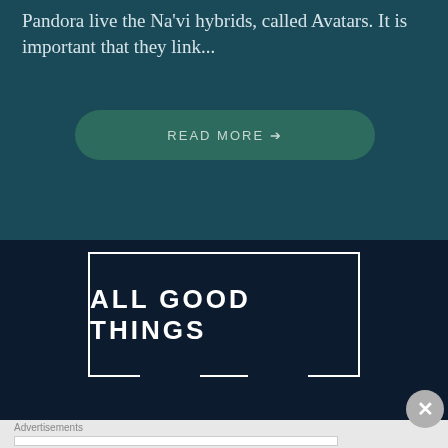Pandora live the Na'vi hybrids, called Avatars. It is important that they link...
[Figure (screenshot): READ MORE button with arrow, rounded rectangle, dark teal color]
ALL GOOD THINGS
[Figure (screenshot): Close X button circle]
Advertisements
AUTOMATTIC
Build a better web and a better world.